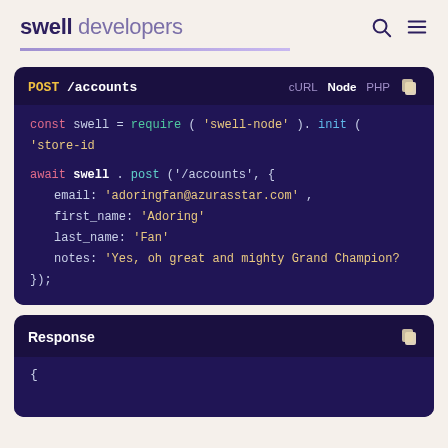swell developers
[Figure (screenshot): Code block showing POST /accounts endpoint with Node.js code: const swell = require('swell-node').init('store-id'); await swell.post('/accounts', { email: 'adoringfan@azurasstar.com', first_name: 'Adoring', last_name: 'Fan', notes: 'Yes, oh great and mighty Grand Champion?' });]
[Figure (screenshot): Response block header with copy icon and opening brace {]